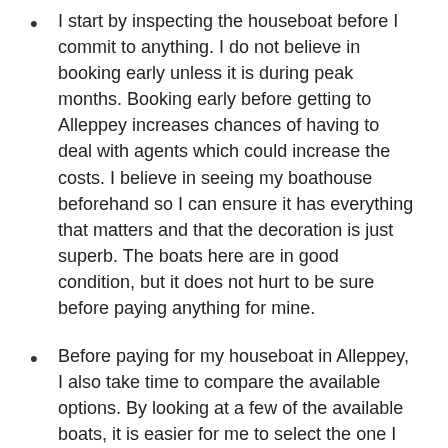I start by inspecting the houseboat before I commit to anything. I do not believe in booking early unless it is during peak months. Booking early before getting to Alleppey increases chances of having to deal with agents which could increase the costs. I believe in seeing my boathouse beforehand so I can ensure it has everything that matters and that the decoration is just superb. The boats here are in good condition, but it does not hurt to be sure before paying anything for mine.
Before paying for my houseboat in Alleppey, I also take time to compare the available options. By looking at a few of the available boats, it is easier for me to select the one I love most. The quality is not the same and hence sampling a few make it possible for me to end up with the best. Some of the things that matter when making the selection include bed, mattress, bathroom, mosquito net, air conditioning and meals. It is important to